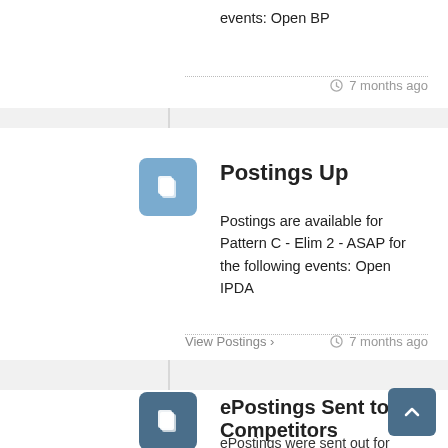events: Open BP
7 months ago
Postings Up
Postings are available for Pattern C - Elim 2 - ASAP for the following events: Open IPDA
View Postings › 7 months ago
ePostings Sent to Competitors
ePostings were sent out for Pattern C -